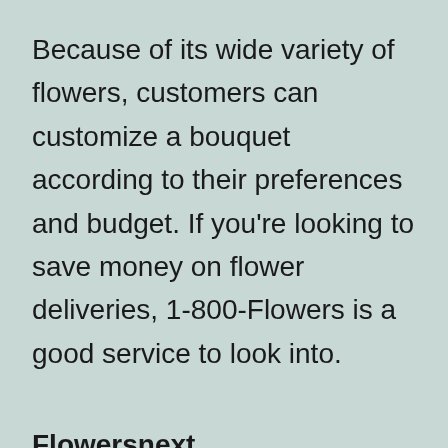Because of its wide variety of flowers, customers can customize a bouquet according to their preferences and budget. If you're looking to save money on flower deliveries, 1-800-Flowers is a good service to look into.
Flowersnext. Flowersnext.com is one of emerging website for international flowers delivery. Its deliver flowers more than 100 countries around the globe and almost all the countries it has same day delivery service. By this website you can send flowers to UK same